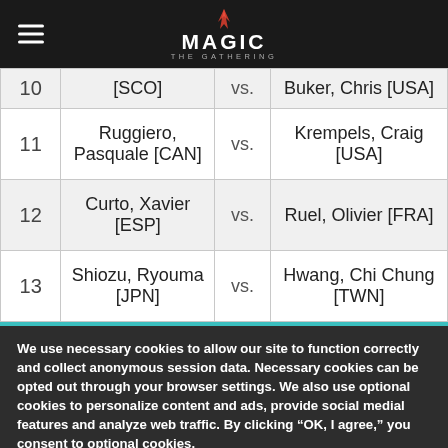Magic: The Gathering
| # | Player 1 | vs. | Player 2 |
| --- | --- | --- | --- |
| 10 | [SCO] | vs. | Buker, Chris [USA] |
| 11 | Ruggiero, Pasquale [CAN] | vs. | Krempels, Craig [USA] |
| 12 | Curto, Xavier [ESP] | vs. | Ruel, Olivier [FRA] |
| 13 | Shiozu, Ryouma [JPN] | vs. | Hwang, Chi Chung [TWN] |
We use necessary cookies to allow our site to function correctly and collect anonymous session data. Necessary cookies can be opted out through your browser settings. We also use optional cookies to personalize content and ads, provide social medial features and analyze web traffic. By clicking “OK, I agree,” you consent to optional cookies.
(Learn more about cookies.)
OK, I agree   No, thanks